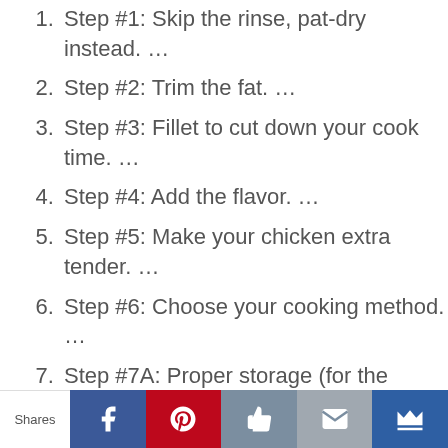Step #1: Skip the rinse, pat-dry instead. …
Step #2: Trim the fat. …
Step #3: Fillet to cut down your cook time. …
Step #4: Add the flavor. …
Step #5: Make your chicken extra tender. …
Step #6: Choose your cooking method. …
Step #7A: Proper storage (for the
Shares | Facebook | Pinterest | Like | Email | Crown